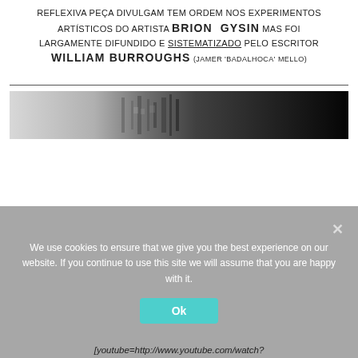reflexiva peça divulgam tem ordem nos experimentos artísticos do artista BRION GYSIN mas foi largamente difundido e sistematizado pelo escritor WILLIAM BURROUGHS (Jamer 'Badalhoca' Mello)
[Figure (photo): A horizontal image strip with a light grey gradient on the left transitioning to a dark black area on the right, with some faint building/architectural shapes visible in the middle.]
We use cookies to ensure that we give you the best experience on our website. If you continue to use this site we will assume that you are happy with it.
Ok
[youtube=http://www.youtube.com/watch?